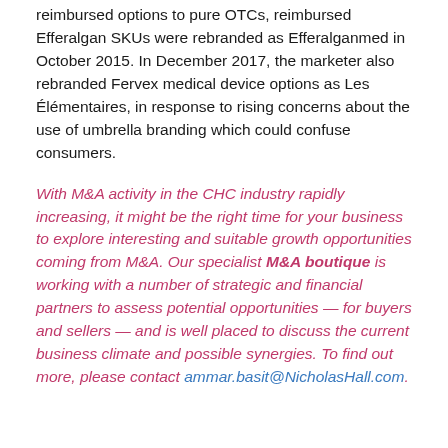reimbursed options to pure OTCs, reimbursed Efferalgan SKUs were rebranded as Efferalganmed in October 2015. In December 2017, the marketer also rebranded Fervex medical device options as Les Élémentaires, in response to rising concerns about the use of umbrella branding which could confuse consumers.
With M&A activity in the CHC industry rapidly increasing, it might be the right time for your business to explore interesting and suitable growth opportunities coming from M&A. Our specialist M&A boutique is working with a number of strategic and financial partners to assess potential opportunities — for buyers and sellers — and is well placed to discuss the current business climate and possible synergies. To find out more, please contact ammar.basit@NicholasHall.com.